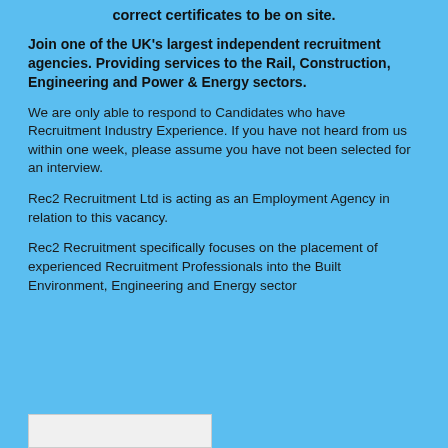correct certificates to be on site.
Join one of the UK's largest independent recruitment agencies. Providing services to the Rail, Construction, Engineering and Power & Energy sectors.
We are only able to respond to Candidates who have Recruitment Industry Experience. If you have not heard from us within one week, please assume you have not been selected for an interview.
Rec2 Recruitment Ltd is acting as an Employment Agency in relation to this vacancy.
Rec2 Recruitment specifically focuses on the placement of experienced Recruitment Professionals into the Built Environment, Engineering and Energy sector
[Figure (other): Partial box/logo element at bottom left, partially cut off]